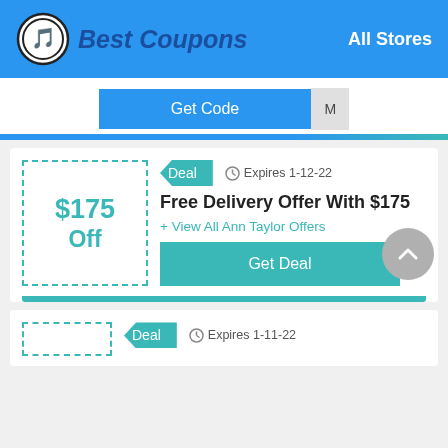Best Coupons — All Stores
[Figure (screenshot): Get Code button with partial code text visible]
[Figure (infographic): Coupon card: $175 Off — Free Delivery Offer With $175, Deal badge, Expires 1-12-22, + View All Ann Taylor Offers, Get Deal button]
Deal   Expires 1-12-22
Free Delivery Offer With $175
+ View All Ann Taylor Offers
[Figure (screenshot): Partial coupon card at bottom: Deal badge, Expires 1-11-22]